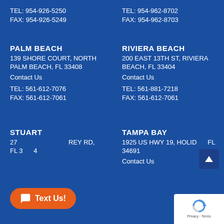TEL: 954-926-5250
FAX: 954-926-5249
TEL: 954-962-8702
FAX: 954-962-8703
PALM BEACH
139 SHORE COURT, NORTH PALM BEACH, FL 33408
Contact Us
TEL: 561-612-7076
FAX: 561-612-7061
RIVIERA BEACH
200 EAST 13TH ST, RIVIERA BEACH, FL 33404
Contact Us
TEL: 561-881-7218
FAX: 561-612-7061
STUART
275 SW KANNER HWY RD, STUART, FL 34994
TAMPA BAY
1925 US HWY 19, HOLIDAY, FL 34691
Contact Us